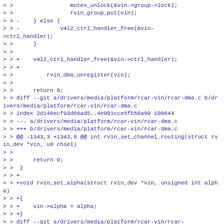> >                 mutex_unlock(&vin->group->lock);
> >                 rvin_group_put(vin);
> > -    } else {
> > -            v4l2_ctrl_handler_free(&vin->ctrl_handler);
> >      }
> >
> > +    v4l2_ctrl_handler_free(&vin->ctrl_handler);
> > +
> >          rvin_dma_unregister(vin);
> >
> >      return 0;
> > diff --git a/drivers/media/platform/rcar-vin/rcar-dma.c b/drivers/media/platform/rcar-vin/rcar-dma.c
> > index 2d146ecf93d66ad5..4e991cce5fb56a90 100644
> > --- a/drivers/media/platform/rcar-vin/rcar-dma.c
> > +++ b/drivers/media/platform/rcar-vin/rcar-dma.c
> > @@ -1343,3 +1343,8 @@ int rvin_set_channel_routing(struct rvin_dev *vin, u8 chsel)
> >
> >      return 0;
> >  }
> > +
> > +void rvin_set_alpha(struct rvin_dev *vin, unsigned int alpha)
> > +{
> > +    vin->alpha = alpha;
> > +}
> > diff --git a/drivers/media/platform/rcar-vin/rcar-